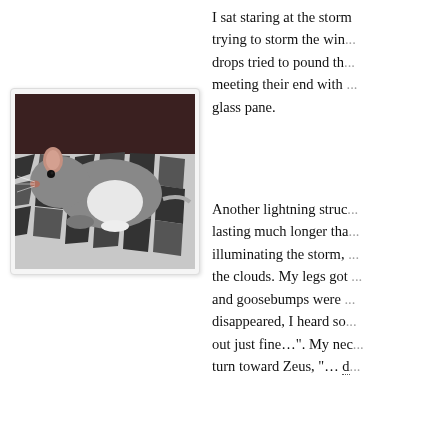[Figure (photo): A gray and white rat sitting on a black and white patterned fabric/bedding, viewed from the side-left angle]
I sat staring at the storm trying to storm the win... drops tried to pound th... meeting their end with ... glass pane.
Another lightning struc... lasting much longer tha... illuminating the storm, ... the clouds. My legs got ... and goosebumps were ... disappeared, I heard so... out just fine...". My nec... turn toward Zeus, "... d...